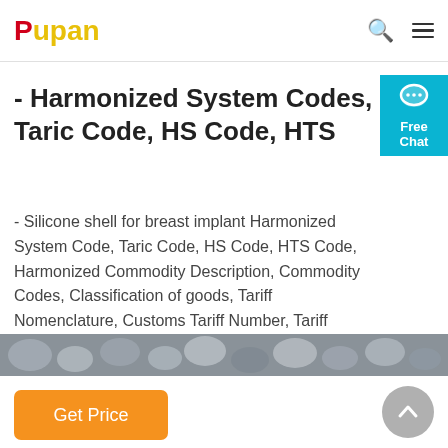Pupan
- Harmonized System Codes, Taric Code, HS Code, HTS
- Silicone shell for breast implant Harmonized System Code, Taric Code, HS Code, HTS Code, Harmonized Commodity Description, Commodity Codes, Classification of goods, Tariff Nomenclature, Customs Tariff Number, Tariff Classification.
[Figure (screenshot): Orange 'Get Price' button]
[Figure (photo): Bottom banner with pebble/stone background image]
[Figure (other): Gray circular back-to-top arrow button]